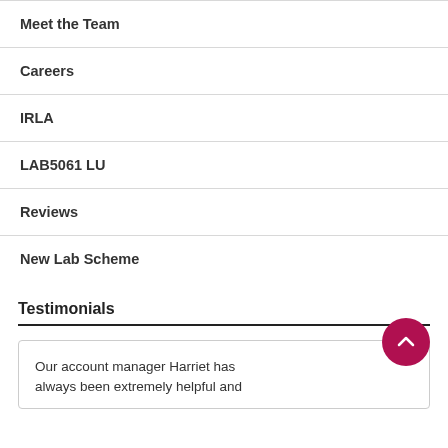Meet the Team
Careers
IRLA
LAB5061 LU
Reviews
New Lab Scheme
Testimonials
Our account manager Harriet has always been extremely helpful and